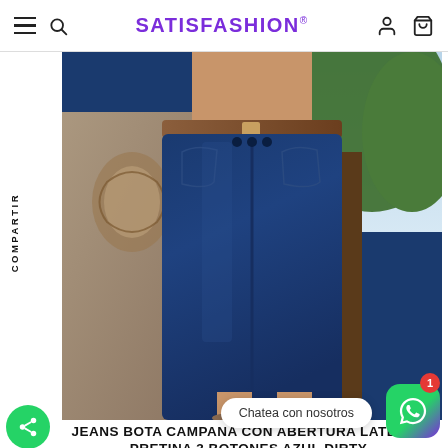SATISFASHION®
[Figure (photo): Close-up photo of a woman wearing dark blue bell-bottom jeans with lateral opening and 3-button waistband, with a brown belt, outdoors with greenery and stone decorations in background]
JEANS BOTA CAMPANA CON ABERTURA LATERAL PRETINA 3 BOTONES AZUL DIRTY
$ 1,399.00
[Figure (photo): Partially visible blurred photo of a woman at bottom of page]
Chatea con nosotros